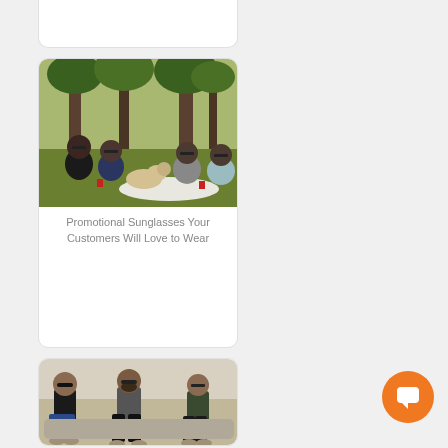[Figure (photo): Card with partial content at top of page (partially cut off)]
[Figure (photo): Group of four people with a dog sitting on grass in a park with trees, wearing sunglasses]
Promotional Sunglasses Your Customers Will Love to Wear
[Figure (photo): Three men sitting on a rock or ledge at a beach, wearing sunglasses]